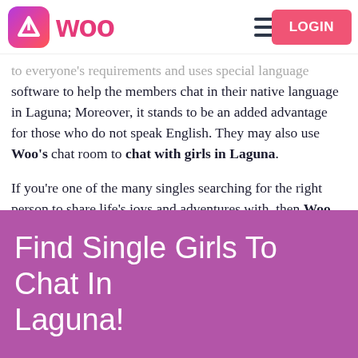Woo — LOGIN
to everyone's requirements and uses special language software to help the members chat in their native language in Laguna; Moreover, it stands to be an added advantage for those who do not speak English. They may also use Woo's chat room to chat with girls in Laguna.
If you're one of the many singles searching for the right person to share life's joys and adventures with, then Woo App's online dating will also help you make lifelong friends and even find your soulmate.
Find Single Girls To Chat In Laguna!